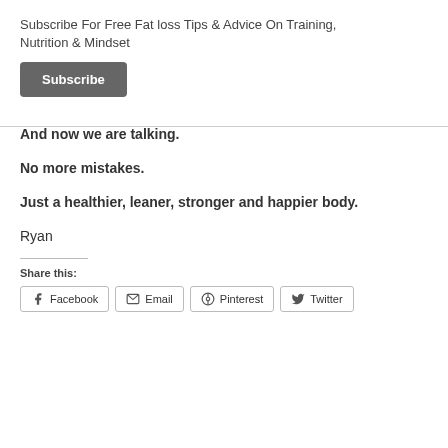Subscribe For Free Fat loss Tips & Advice On Training, Nutrition & Mindset
Subscribe
And now we are talking.
No more mistakes.
Just a healthier, leaner, stronger and happier body.
Ryan
Share this:
Facebook  Email  Pinterest  Twitter